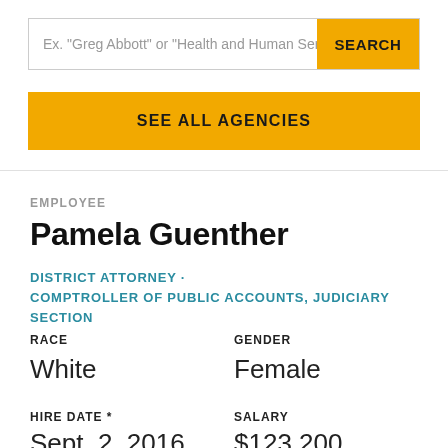Ex. "Greg Abbott" or "Health and Human Services Co
SEARCH
SEE ALL AGENCIES
EMPLOYEE
Pamela Guenther
DISTRICT ATTORNEY · COMPTROLLER OF PUBLIC ACCOUNTS, JUDICIARY SECTION
RACE
GENDER
White
Female
HIRE DATE *
SALARY
Sept. 2, 2016
$123,200